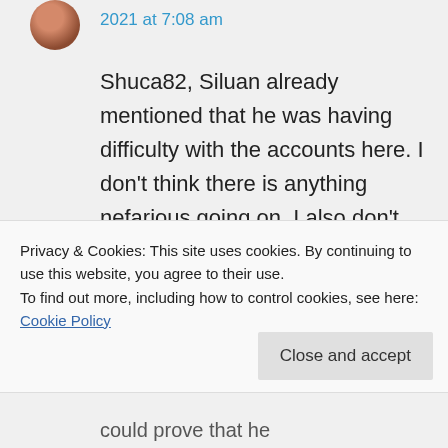2021 at 7:08 am
Shuca82, Siluan already mentioned that he was having difficulty with the accounts here. I don't think there is anything nefarious going on. I also don't think it would be
Privacy & Cookies: This site uses cookies. By continuing to use this website, you agree to their use.
To find out more, including how to control cookies, see here: Cookie Policy
Close and accept
could prove that he